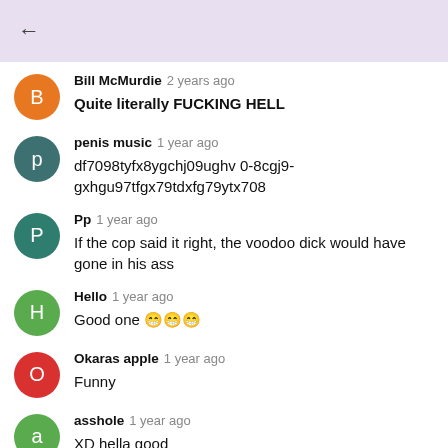←
Bill McMurdie 2 years ago
Quite literally FUCKING HELL
penis music 1 year ago
df7098tyfx8ygchj09ughv 0-8cgj9-gxhgu97tfgx79tdxfg79ytx708
Pp 1 year ago
If the cop said it right, the voodoo dick would have gone in his ass
Hello 1 year ago
Good one 😁😁😁
Okaras apple 1 year ago
Funny
asshole 1 year ago
XD hella good